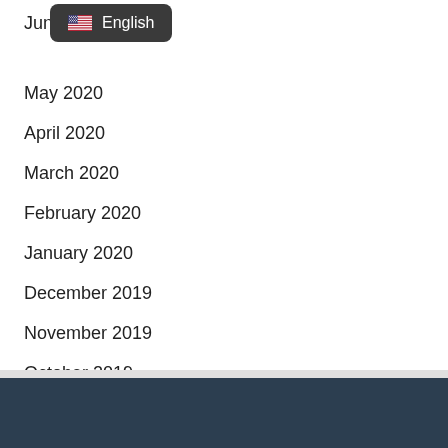[Figure (other): Tooltip overlay showing English language selector with US flag icon on dark rounded background]
Jun
May 2020
April 2020
March 2020
February 2020
January 2020
December 2019
November 2019
October 2019
August 2019